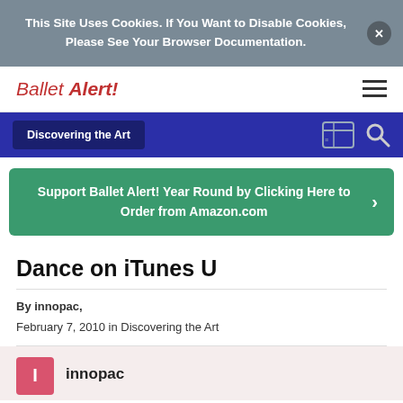This Site Uses Cookies. If You Want to Disable Cookies, Please See Your Browser Documentation.
Ballet Alert!
Discovering the Art
Support Ballet Alert! Year Round by Clicking Here to Order from Amazon.com
Dance on iTunes U
By innopac, February 7, 2010 in Discovering the Art
innopac